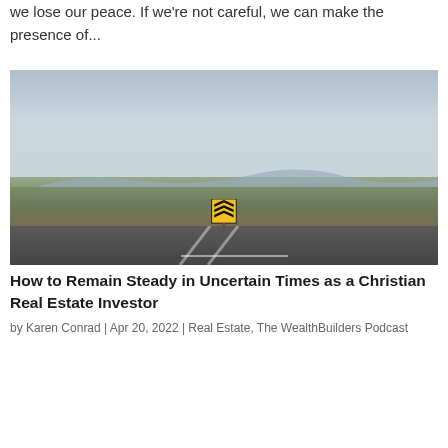we lose our peace. If we're not careful, we can make the presence of...
[Figure (photo): A roadside yellow warning sign with black chevron arrows in a desert landscape with mountains in the background and a cloudy sky]
How to Remain Steady in Uncertain Times as a Christian Real Estate Investor
by Karen Conrad | Apr 20, 2022 | Real Estate, The WealthBuilders Podcast